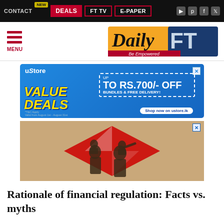CONTACT  NEW  DEALS  FT TV  E-PAPER
[Figure (logo): Daily FT newspaper logo with 'Be Empowered' tagline]
[Figure (infographic): uStore advertisement: VALUE DEALS - UP TO RS.700/- OFF BUNDLES & FREE DELIVERY! Shop now on ustore.lk]
[Figure (photo): HSBC advertisement showing a family silhouette against a red diamond/chevron logo background]
Rationale of financial regulation: Facts vs. myths